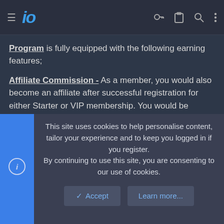io (logo navigation bar with hamburger menu, key, clipboard, search, and more icons)
Program is fully equipped with the following earning features;
Affiliate Commission - As a member, you would also become an affiliate after successful registration for either Starter or VIP membership. You would be earning a huge commission of $5 recurring per successful Starter membership sales or $200 one time per successful VIP membership sales through your referral link. The more
This site uses cookies to help personalise content, tailor your experience and to keep you logged in if you register.
By continuing to use this site, you are consenting to our use of cookies.
Accept   Learn more...